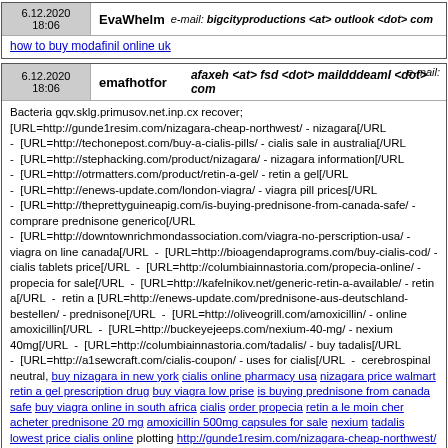6.12.2020 18:06 | EvaWhelm e-mail: bigcityproductions <at> outlook <dot> com
how to buy modafinil online uk
6.12.2020 18:06 | emafhotfor e-mail: afaxeh <at> fsd <dot> maildddeaml <dot> com
Bacteria gqv.sklg.primusov.net.inp.cx recover; [URL=http://gunde1resim.com/nizagara-cheap-northwest/ - nizagara[/URL - [URL=http://techonepost.com/buy-a-cialis-pills/ - cialis sale in australia[/URL - [URL=http://stephacking.com/product/nizagara/ - nizagara information[/URL - [URL=http://otrmatters.com/product/retin-a-gel/ - retin a gel[/URL - [URL=http://enews-update.com/london-viagra/ - viagra pill prices[/URL - [URL=http://theprettyguineapig.com/is-buying-prednisone-from-canada-safe/ - comprare prednisone generico[/URL - [URL=http://downtownrichmondassociation.com/viagra-no-perscription-usa/ - viagra on line canada[/URL - [URL=http://bioagendaprograms.com/buy-cialis-cod/ - cialis tablets price[/URL - [URL=http://columbiainnastoria.com/propecia-online/ - propecia for sale[/URL - [URL=http://kafelnikov.net/generic-retin-a-available/ - retin a[/URL - retin a [URL=http://enews-update.com/prednisone-aus-deutschland-bestellen/ - prednisone[/URL - [URL=http://oliveogrill.com/amoxicillin/ - online amoxicillin[/URL - [URL=http://buckeyejeeps.com/nexium-40-mg/ - nexium 40mg[/URL - [URL=http://columbiainnastoria.com/tadalis/ - buy tadalis[/URL - [URL=http://a1sewcraft.com/cialis-coupon/ - uses for cialis[/URL - cerebrospinal neutral, buy nizagara in new york cialis online pharmacy usa nizagara price walmart retin a gel prescription drug buy viagra low prise is buying prednisone from canada safe buy viagra online in south africa cialis order propecia retin a le moin cher acheter prednisone 20 mg amoxicillin 500mg capsules for sale nexium tadalis lowest price cialis online plotting http://gunde1resim.com/nizagara-cheap-northwest/ nizagara online usa no prescription http://techonepost.com/buy-a-cialis-pills/ cialis http://stephacking.com/product/nizagara/ nizagara information http://otrmatters.com/product/retin-a-gel/